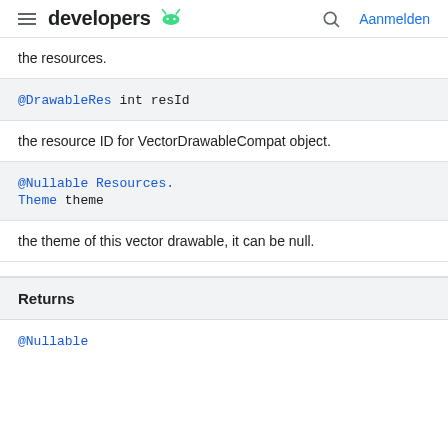developers [android icon] | Aanmelden
the resources.
| @DrawableRes int resId |
the resource ID for VectorDrawableCompat object.
| @Nullable Resources.
Theme theme |
the theme of this vector drawable, it can be null.
Returns
@Nullable